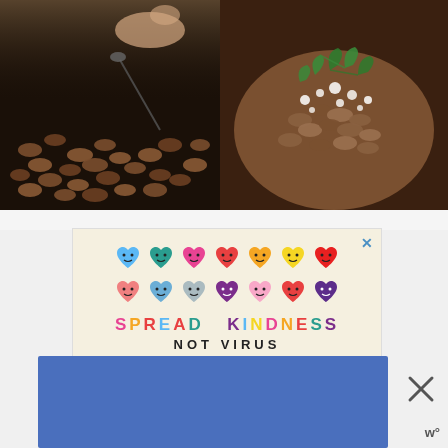[Figure (photo): Two food photos side by side: left shows beans cooking in a dark pot with a spoon and hand visible; right shows a close-up of a bean dish topped with crumbled white cheese and fresh cilantro/herbs]
[Figure (infographic): Advertisement with cream background showing colorful heart emoji characters in two rows, with text 'SPREAD KINDNESS' in multicolored letters and 'NOT VIRUS' in bold black text. Partial row of hearts visible at bottom. Blue close X button in top right corner.]
[Figure (infographic): Blue rectangular advertisement banner at bottom of page with a close X button and 'w°' logo to the right]